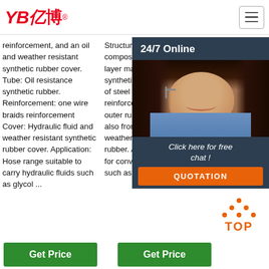YB亿博 — navigation header with hamburger menu
reinforcement, and an oil and weather resistant synthetic rubber cover. Tube: Oil resistance synthetic rubber. Reinforcement: one wire braids reinforcement Cover: Hydraulic fluid and weather resistant synthetic rubber cover. Application: Hose range suitable to carry hydraulic fluids such as glycol ...
Structure: The hose is composed of inner rubber layer made from oil resistant synthetic rubber, one layer of steel wire braided reinforcement layer and outer rubber layer made also from oil resistant and weather resistant synthetic rubber. Application:Suitable for conveying hydraulic fluid such as ...
leading High Pressure Hydraulic Hose strict High Hydr fact qua Pre Hos
[Figure (other): 24/7 Online chat panel with dark background, agent photo, 'Click here for free chat!' text and orange QUOTATION button]
[Figure (other): Orange TOP back-to-top icon with dot pattern and the word TOP]
Get Price
Get Price